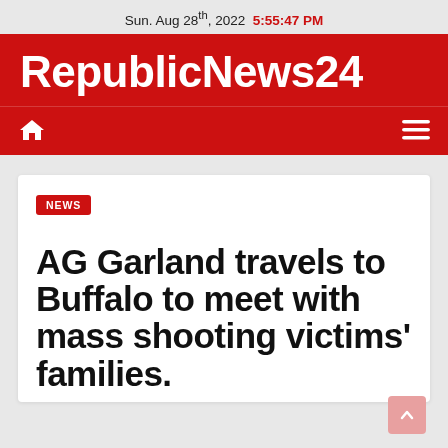Sun. Aug 28th, 2022  5:55:47 PM
RepublicNews24
[Figure (screenshot): Navigation bar with home icon and hamburger menu icon on red background]
NEWS
AG Garland travels to Buffalo to meet with mass shooting victims' families.